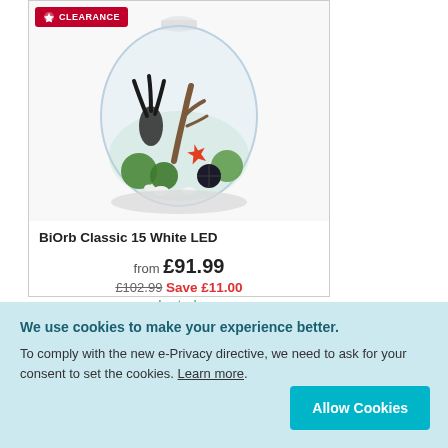[Figure (photo): BiOrb Classic 15 White LED aquarium bowl with plants, coral, starfish and pebbles inside. Red CLEARANCE badge in top left corner.]
BiOrb Classic 15 White LED
from £91.99
£102.99 Save £11.00
In stock
We use cookies to make your experience better. To comply with the new e-Privacy directive, we need to ask for your consent to set the cookies. Learn more. Allow Cookies